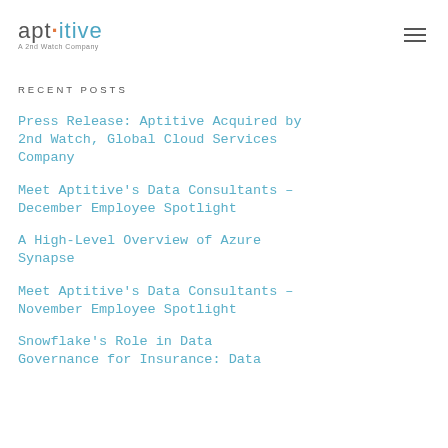apt·itive – A 2nd Watch Company
RECENT POSTS
Press Release: Aptitive Acquired by 2nd Watch, Global Cloud Services Company
Meet Aptitive's Data Consultants – December Employee Spotlight
A High-Level Overview of Azure Synapse
Meet Aptitive's Data Consultants – November Employee Spotlight
Snowflake's Role in Data Governance for Insurance: Data